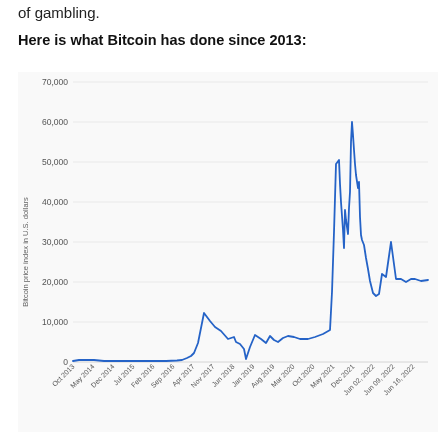of gambling.
Here is what Bitcoin has done since 2013:
[Figure (line-chart): Bitcoin price since 2013]